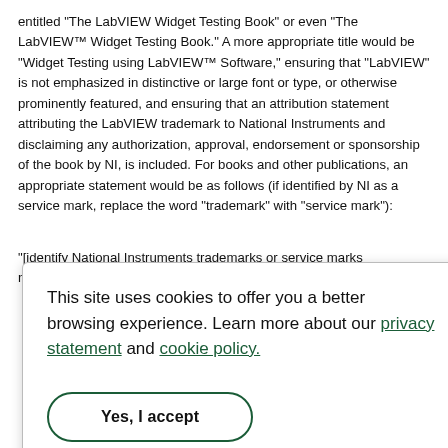entitled "The LabVIEW Widget Testing Book" or even "The LabVIEW™ Widget Testing Book." A more appropriate title would be "Widget Testing using LabVIEW™ Software," ensuring that "LabVIEW" is not emphasized in distinctive or large font or type, or otherwise prominently featured, and ensuring that an attribution statement attributing the LabVIEW trademark to National Instruments and disclaiming any authorization, approval, endorsement or sponsorship of the book by NI, is included. For books and other publications, an appropriate statement would be as follows (if identified by NI as a service mark, replace the word "trademark" with "service mark"):
"[identify National Instruments trademarks or service marks mentioned]
This site uses cookies to offer you a better browsing experience. Learn more about our privacy statement and cookie policy.
Yes, I accept